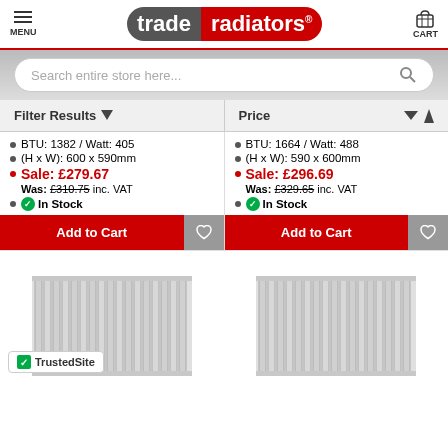trade radiators — MENU | CART
Search entire store here...
Filter Results ▼ | Price ∨ ↑
BTU: 1382 / Watt: 405
(H x W): 600 x 590mm
Sale: £279.67
Was: £310.75 inc. VAT
In Stock
BTU: 1664 / Watt: 488
(H x W): 590 x 600mm
Sale: £296.69
Was: £329.65 inc. VAT
In Stock
[Figure (photo): Radiator product image left]
[Figure (photo): Radiator product image right]
TrustedSite